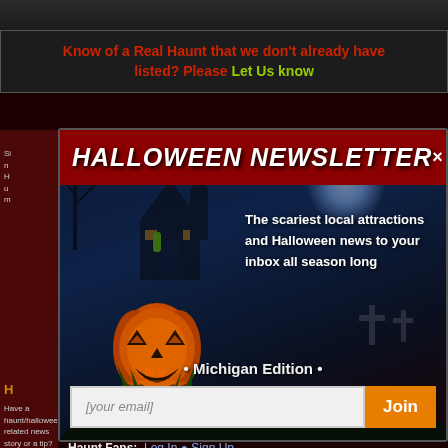Know of a Real Haunt that we don't already have listed? Please Let Us know
[Figure (illustration): Halloween newsletter popup modal with pumpkin, haunted house background, email signup form for Michigan Edition]
HALLOWEEN NEWSLETTER ×
The scariest local attractions and Halloween news to your inbox all season long
• Michigan Edition •
[your email]
Join
☐ Best Haunt Contest
Haunt Owners:  Add Listing  •  Modify Listing  •  Advertise
Haunt Fans:  Log In  •  Sign Up
Have a haunt/halloween related news story or a tip? Let us know!